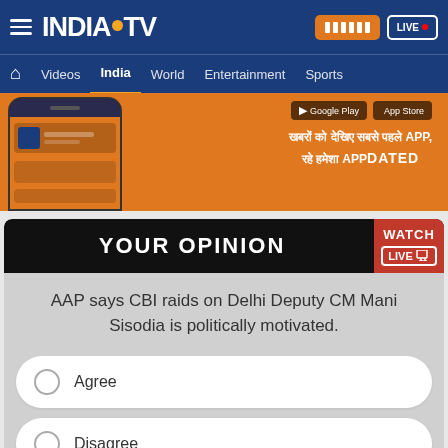INDIA TV — Videos | India | World | Entertainment | Sports
[Figure (screenshot): Orange promotional banner for India TV app showing a phone device, Google Play and App Store buttons, and Hindi text with APPDATED tagline]
YOUR OPINION
AAP says CBI raids on Delhi Deputy CM Mani Sisodia is politically motivated.
Agree
Disagree
Can't say